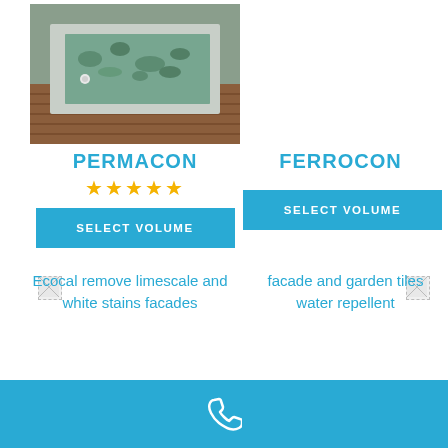[Figure (photo): Photo of a concrete water basin/pool with pebbles and wooden deck surround]
PERMACON
★★★★★
SELECT VOLUME
FERROCON
SELECT VOLUME
[Figure (photo): Ecocal remove limescale and white stains facades]
Ecocal remove limescale and white stains facades
[Figure (photo): facade and garden tiles water repellent]
facade and garden tiles water repellent
[Figure (other): Phone icon on blue footer bar]